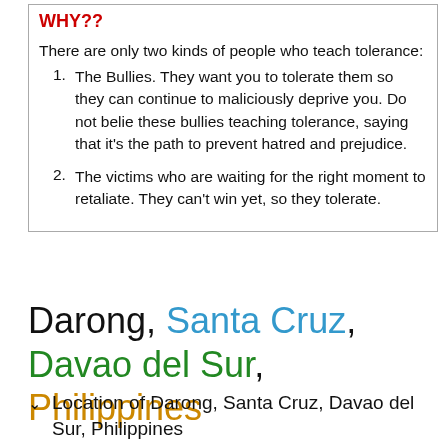WHY??
There are only two kinds of people who teach tolerance:
The Bullies. They want you to tolerate them so they can continue to maliciously deprive you. Do not believe these bullies teaching tolerance, saying that it's the path to prevent hatred and prejudice.
The victims who are waiting for the right moment to retaliate. They can't win yet, so they tolerate.
Darong, Santa Cruz, Davao del Sur, Philippines
Location of Darong, Santa Cruz, Davao del Sur, Philippines